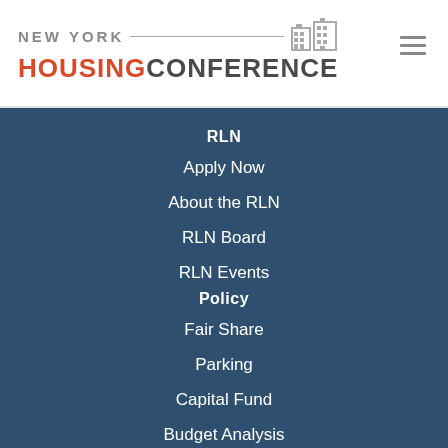[Figure (logo): New York Housing Conference logo with building icon]
RLN
Apply Now
About the RLN
RLN Board
RLN Events
Policy
Fair Share
Parking
Capital Fund
Budget Analysis
Budget Analysis Archive
Policy Priorities